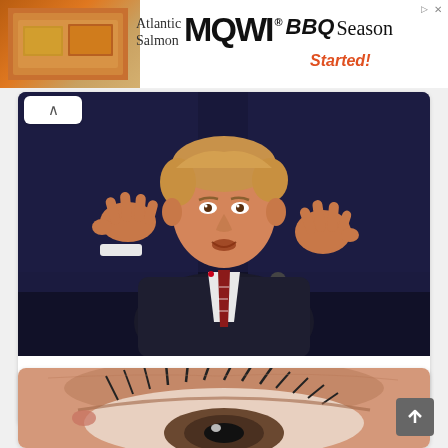[Figure (photo): Advertisement banner for MOWI Atlantic Salmon BBQ Season with food imagery on the left side]
[Figure (photo): Donald Trump speaking at a debate podium with both hands raised, wearing a dark suit and striped tie, against a dark blue background]
USA President And First Lady Test Positive For Covid-19
[Figure (photo): Close-up macro photo of a human eye with detailed eyelashes visible]